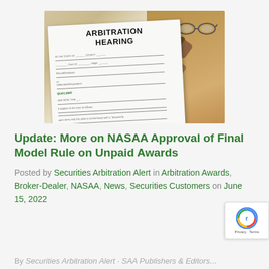[Figure (photo): Photo of an arbitration hearing document with a gavel on top, lying on a wooden desk surface with glasses in background]
Update: More on NASAA Approval of Final Model Rule on Unpaid Awards
Posted by Securities Arbitration Alert in Arbitration Awards, Broker-Dealer, NASAA, News, Securities Customers on June 15, 2022
By...